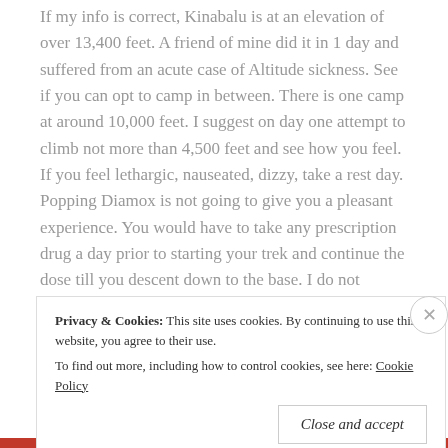If my info is correct, Kinabalu is at an elevation of over 13,400 feet. A friend of mine did it in 1 day and suffered from an acute case of Altitude sickness. See if you can opt to camp in between. There is one camp at around 10,000 feet. I suggest on day one attempt to climb not more than 4,500 feet and see how you feel. If you feel lethargic, nauseated, dizzy, take a rest day. Popping Diamox is not going to give you a pleasant experience. You would have to take any prescription drug a day prior to starting your trek and continue the dose till you descent down to the base. I do not believe in advising people in popping prescription pills. I am afraid to say if you cannot modify your itinerary
Privacy & Cookies: This site uses cookies. By continuing to use this website, you agree to their use.
To find out more, including how to control cookies, see here: Cookie Policy
Close and accept